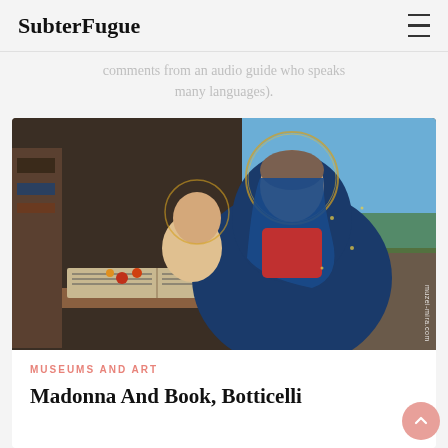SubterFugue
comments from an audio guide who speaks many languages).
[Figure (photo): Botticelli painting: Madonna and Child with Book. A woman in a blue robe with gold halo holds a baby, both looking at an open book on a desk. Blue sky in background. Watermark: muzei-mira.com]
MUSEUMS AND ART
Madonna And Book, Botticelli